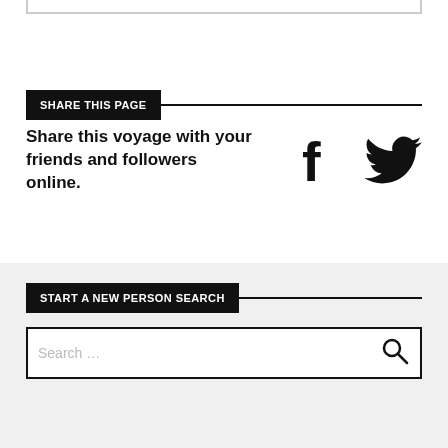SHARE THIS PAGE
Share this voyage with your friends and followers online.
[Figure (illustration): Facebook and Twitter social media icons]
START A NEW PERSON SEARCH
Search ...